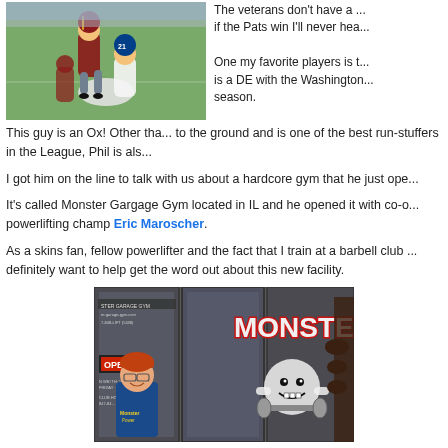[Figure (photo): Football action photo showing players tackling, one player flipped upside down, NFL game scene with Redskins and Cowboys players]
The veterans don't have a ... if the Pats win I'll never hea...
One my favorite players is t... is a DE with the Washington... season.
This guy is an Ox! Other tha... to the ground and is one of the best run-stuffers in the League, Phil is als...
I got him on the line to talk with us about a hardcore gym that he just ope...
It's called Monster Gargage Gym located in IL and he opened it with co-o... powerlifting champ Eric Maroscher.
As a skins fan, fellow powerlifter and the fact that I train at a barbell club ... definitely want to help get the word out about this new facility.
[Figure (photo): Photo of Monster Garage Gym storefront with a man smiling in front, MONSTER logo visible on window with cartoon monster holding weights]